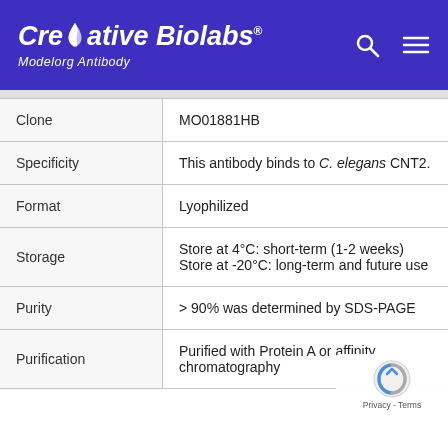Creative Biolabs® Modelorg Antibody
|  |  |
| --- | --- |
| Clone | MO01881HB |
| Specificity | This antibody binds to C. elegans CNT2. |
| Format | Lyophilized |
| Storage | Store at 4°C: short-term (1-2 weeks)
Store at -20°C: long-term and future use |
| Purity | > 90% was determined by SDS-PAGE |
| Purification | Purified with Protein A or affinity chromatography |